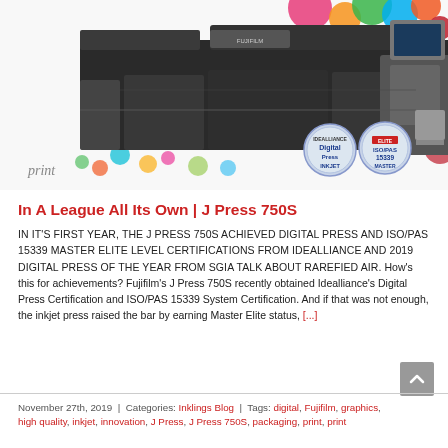[Figure (photo): Fujifilm J Press 750S digital inkjet press shown against a colorful circles/dots background. Two certification badges visible: Digital Press INKJET and ISO/PAS 15339 MASTER ELITE. The word 'print' is handwritten in the lower left corner of the image.]
In A League All Its Own | J Press 750S
IN IT'S FIRST YEAR, THE J PRESS 750S ACHIEVED DIGITAL PRESS AND ISO/PAS 15339 MASTER ELITE LEVEL CERTIFICATIONS FROM IDEALLIANCE AND 2019 DIGITAL PRESS OF THE YEAR FROM SGIA TALK ABOUT RAREFIED AIR. How's this for achievements? Fujifilm's J Press 750S recently obtained Idealliance's Digital Press Certification and ISO/PAS 15339 System Certification. And if that was not enough, the inkjet press raised the bar by earning Master Elite status, [...]
November 27th, 2019 | Categories: Inklings Blog | Tags: digital, Fujifilm, graphics, high quality, inkjet, innovation, J Press, J Press 750S, packaging, print, print